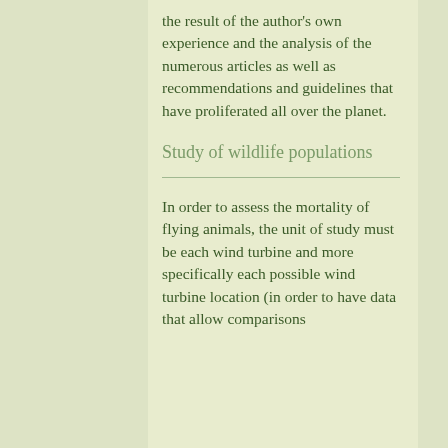the result of the author's own experience and the analysis of the numerous articles as well as recommendations and guidelines that have proliferated all over the planet.
Study of wildlife populations
In order to assess the mortality of flying animals, the unit of study must be each wind turbine and more specifically each possible wind turbine location (in order to have data that allow comparisons